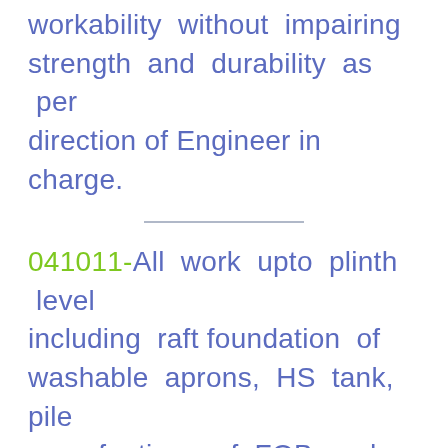workability without impairing strength and durability as per direction of Engineer in charge.
041011-All work upto plinth level including raft foundation of washable aprons, HS tank, pile cap, footings of FOB and Platform shelter etc.
041012-All works in buildings above plinth level upto floor two level
096060-Kota stone slab flooring